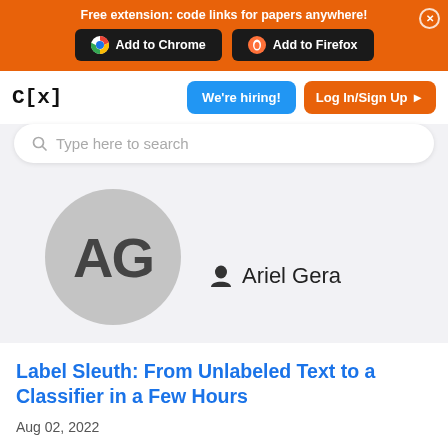Free extension: code links for papers anywhere!
Add to Chrome | Add to Firefox
[Figure (screenshot): Navigation bar with C[x] logo, We're hiring! button, and Log In/Sign Up button]
Type here to search
[Figure (illustration): Avatar circle with initials AG and author name Ariel Gera]
Label Sleuth: From Unlabeled Text to a Classifier in a Few Hours
Aug 02, 2022